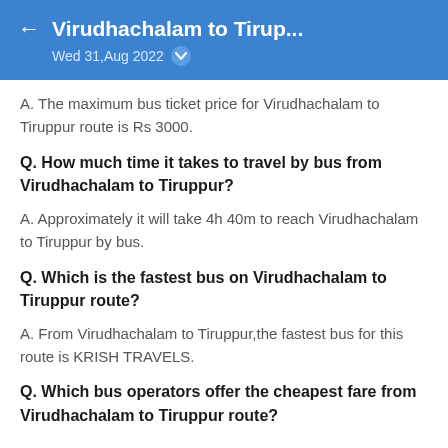Virudhachalam to Tirup... Wed 31,Aug 2022
A. The maximum bus ticket price for Virudhachalam to Tiruppur route is Rs 3000.
Q. How much time it takes to travel by bus from Virudhachalam to Tiruppur?
A. Approximately it will take 4h 40m to reach Virudhachalam to Tiruppur by bus.
Q. Which is the fastest bus on Virudhachalam to Tiruppur route?
A. From Virudhachalam to Tiruppur,the fastest bus for this route is KRISH TRAVELS.
Q. Which bus operators offer the cheapest fare from Virudhachalam to Tiruppur route?